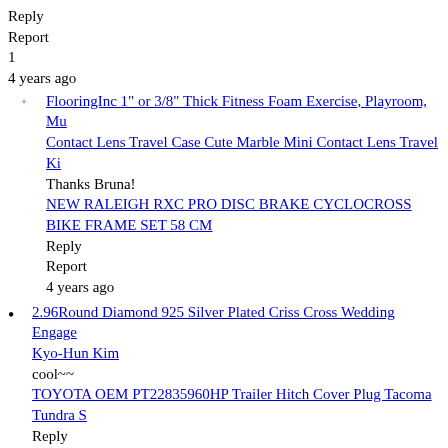Reply
Report
1
4 years ago
FlooringInc 1" or 3/8" Thick Fitness Foam Exercise, Playroom, Mu
Contact Lens Travel Case Cute Marble Mini Contact Lens Travel Ki
Thanks Bruna!
NEW RALEIGH RXC PRO DISC BRAKE CYCLOCROSS BIKE FRAME SET 58 CM
Reply
Report
4 years ago
2.96Round Diamond 925 Silver Plated Criss Cross Wedding Engage
Kyo-Hun Kim
cool~~
TOYOTA OEM PT22835960HP Trailer Hitch Cover Plug Tacoma Tundra S
Reply
Report
2
4 years ago
RUBBER GREEN BANDS SIZE 2 1/2" X 1/16" FOR